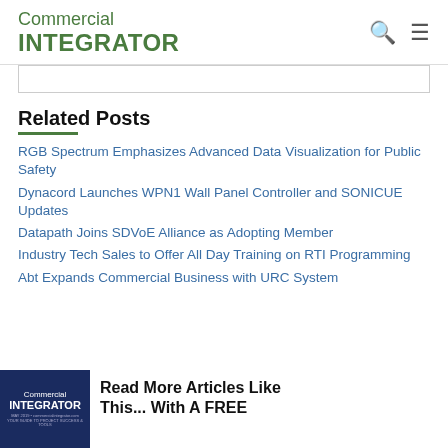Commercial INTEGRATOR
RGB Spectrum Emphasizes Advanced Data Visualization for Public Safety
Dynacord Launches WPN1 Wall Panel Controller and SONICUE Updates
Datapath Joins SDVoE Alliance as Adopting Member
Industry Tech Sales to Offer All Day Training on RTI Programming
Abt Expands Commercial Business with URC System
Related Posts
Read More Articles Like This... With A FREE
[Figure (other): Commercial Integrator magazine cover image on dark blue background]